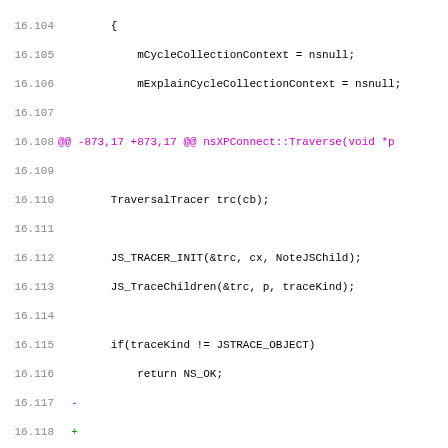Source code diff view, lines 16.104-16.136, showing C++ code for nsXPConnect::Traverse and nsXPConnect::GetFunctionThis functions with diff markers